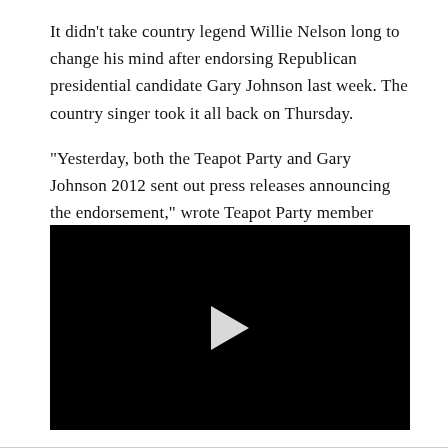It didn't take country legend Willie Nelson long to change his mind after endorsing Republican presidential candidate Gary Johnson last week. The country singer took it all back on Thursday.

“Yesterday, both the Teapot Party and Gary Johnson 2012 sent out press releases announcing the endorsement,” wrote Teapot Party member Steve
[Figure (other): A black video player with a white play button triangle in the center]